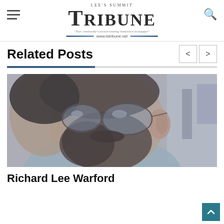Lee's Summit Tribune — www.lstribune.net
Related Posts
[Figure (photo): Close-up photograph of a bearded man wearing aviator glasses, viewed from a side-front angle. The image has a vintage/faded bluish-lavender tone.]
Richard Lee Warford